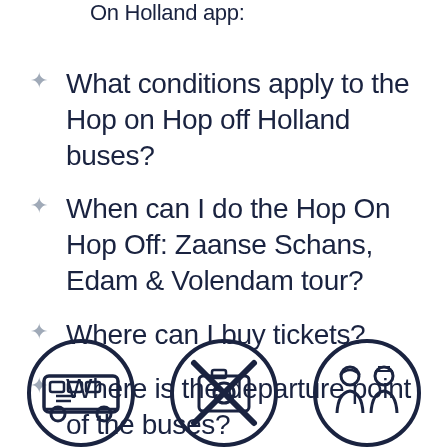On Holland app:
What conditions apply to the Hop on Hop off Holland buses?
When can I do the Hop On Hop Off: Zaanse Schans, Edam & Volendam tour?
Where can I buy tickets?
Where is the departure point of the buses?
[Figure (illustration): Three circular icons with dark navy outlines at the bottom of the page: a bus icon, a no-photography/scissors icon, and a group of people icon.]